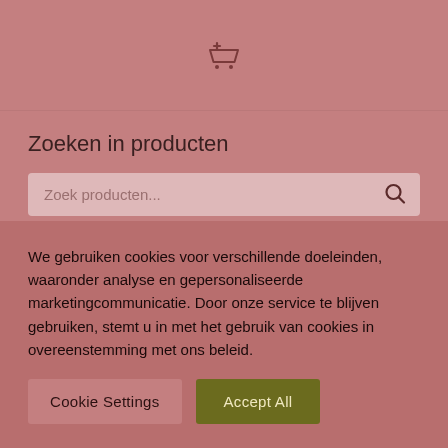[Figure (other): Shopping cart icon with plus sign in top header bar]
Zoeken in producten
Zoek producten...
[Figure (other): Two pagination dots indicator]
We gebruiken cookies voor verschillende doeleinden, waaronder analyse en gepersonaliseerde marketingcommunicatie. Door onze service te blijven gebruiken, stemt u in met het gebruik van cookies in overeenstemming met ons beleid.
Cookie Settings
Accept All